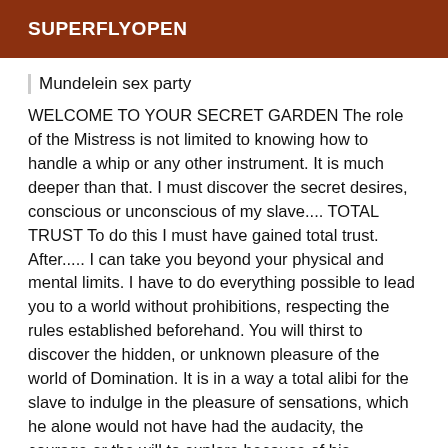SUPERFLYOPEN
Mundelein sex party
WELCOME TO YOUR SECRET GARDEN The role of the Mistress is not limited to knowing how to handle a whip or any other instrument. It is much deeper than that. I must discover the secret desires, conscious or unconscious of my slave.... TOTAL TRUST To do this I must have gained total trust. After..... I can take you beyond your physical and mental limits. I have to do everything possible to lead you to a world without prohibitions, respecting the rules established beforehand. You will thirst to discover the hidden, or unknown pleasure of the world of Domination. It is in a way a total alibi for the slave to indulge in the pleasure of sensations, which he alone would not have had the audacity, the courage or the will to explore because of his education, his morals, his But at the basis of a session there is: respect and honesty decorum sincerity